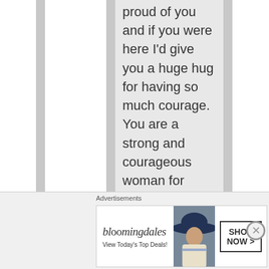proud of you and if you were here I'd give you a huge hug for having so much courage. You are a strong and courageous woman for writing about this awful experience. Many of
Advertisements
[Figure (other): Bloomingdale's advertisement banner: logo text 'bloomingdales', tagline 'View Today's Top Deals!', image of woman in large navy hat, 'SHOP NOW >' button]